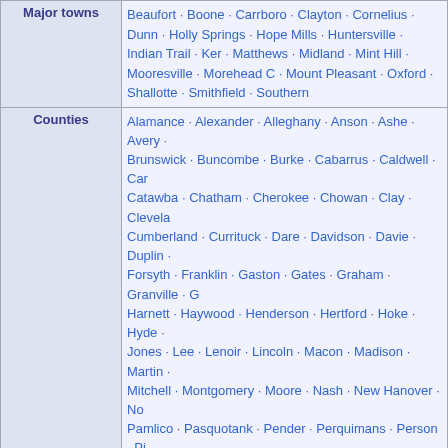| Category | Content |
| --- | --- |
| Major towns | Beaufort · Boone · Carrboro · Clayton · Cornelius · Dunn · Holly Springs · Hope Mills · Huntersville · Indian Trail · Ker · Matthews · Midland · Mint Hill · Mooresville · Morehead C · Mount Pleasant · Oxford · Shallotte · Smithfield · Southern |
| Counties | Alamance · Alexander · Alleghany · Anson · Ashe · Avery · Brunswick · Buncombe · Burke · Cabarrus · Caldwell · Car · Catawba · Chatham · Cherokee · Chowan · Clay · Clevela · Cumberland · Currituck · Dare · Davidson · Davie · Duplin · Forsyth · Franklin · Gaston · Gates · Graham · Granville · Harnett · Haywood · Henderson · Hertford · Hoke · Hyde · Jones · Lee · Lenoir · Lincoln · Macon · Madison · Martin · Mitchell · Montgomery · Moore · Nash · New Hanover · No · Pamlico · Pasquotank · Pender · Perquimans · Person · Pi · Richmond · Robeson · Rockingham · Rowan · Rutherford · Stokes · Surry · Swain · Transylvania · Tyrrell · Union · Va · Washington · Watauga · Wayne · Wilkes · Wilson · Yadkin |
| Chapel Hill-Carrboro, North Carolina |  |
| Urban Areas | Carrboro · Chapel Hill (Franklin Street, Southern Village) · UN |
| Schools | Chapel Hill-Carrboro City Schools · Carrboro High · Chap · East Chapel Hill High |
| Transportation | Chapel Hill Transit · GoTriangle · Horace Williams Airport |
|  | The Carrboro Citizen · The Chapel Hill News · The Daily |